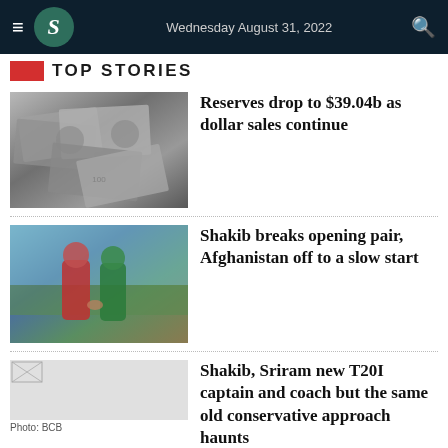Wednesday August 31, 2022
Top Stories
[Figure (photo): Scattered US dollar bills, black and white image]
Reserves drop to $39.04b as dollar sales continue
[Figure (photo): Two cricket players shaking hands on field, one in red Afghanistan jersey, one in green Bangladesh jersey]
Shakib breaks opening pair, Afghanistan off to a slow start
Photo: BCB
Shakib, Sriram new T20I captain and coach but the same old conservative approach haunts